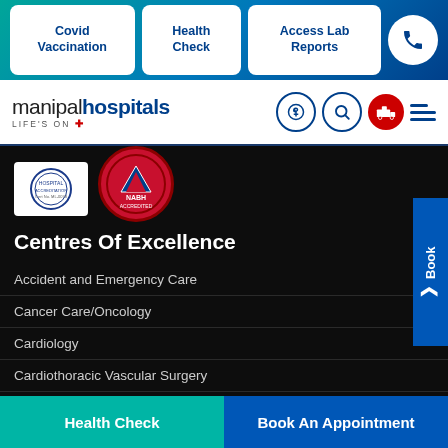Covid Vaccination | Health Check | Access Lab Reports
[Figure (logo): Manipal Hospitals logo with tagline LIFE'S ON, microphone icon, search icon, ambulance icon, hamburger menu]
[Figure (logo): Two accreditation badges - circular hospital seal and NABH accreditation badge]
Centres Of Excellence
Accident and Emergency Care
Cancer Care/Oncology
Cardiology
Cardiothoracic Vascular Surgery
Gastrointestinal Science
Laparoscopic Surgery
Liver Transplantation Surgery
Health Check | Book An Appointment